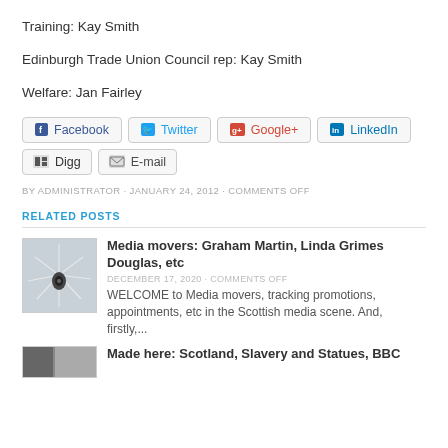Training: Kay Smith
Edinburgh Trade Union Council rep: Kay Smith
Welfare: Jan Fairley
[Figure (other): Social share buttons: Facebook, Twitter, Google+, LinkedIn, Digg, E-mail]
BY ADMINISTRATOR · JANUARY 24, 2012 · COMMENTS OFF
RELATED POSTS
[Figure (photo): Thumbnail photo of a camera with umbrella reflector (monochrome)]
Media movers: Graham Martin, Linda Grimes Douglas, etc
DECEMBER 17, 2020 · COMMENTS OFF
WELCOME to Media movers, tracking promotions, appointments, etc in the Scottish media scene. And, firstly,...
[Figure (photo): Thumbnail image partially visible at bottom]
Made here: Scotland, Slavery and Statues, BBC